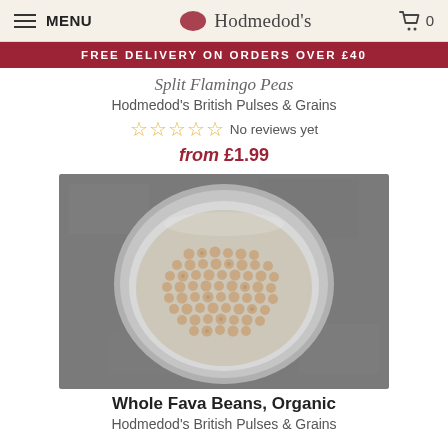MENU | Hodmedod's | 0
FREE DELIVERY ON ORDERS OVER £40
Split Flamingo Peas
Hodmedod's British Pulses & Grains
☆☆☆☆☆ No reviews yet
from £1.99
[Figure (photo): A ceramic bowl filled with small round whole fava beans (peas), photographed from above on a grey stone surface.]
Whole Fava Beans, Organic
Hodmedod's British Pulses & Grains